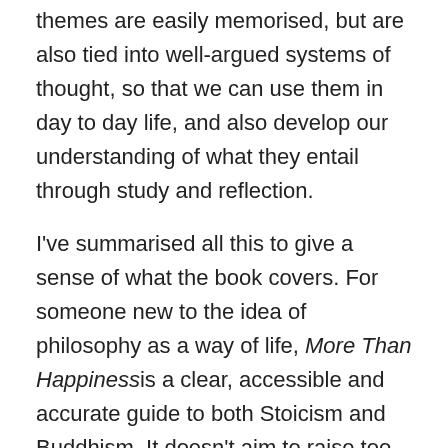themes are easily memorised, but are also tied into well-argued systems of thought, so that we can use them in day to day life, and also develop our understanding of what they entail through study and reflection.
I've summarised all this to give a sense of what the book covers. For someone new to the idea of philosophy as a way of life, More Than Happiness is a clear, accessible and accurate guide to both Stoicism and Buddhism. It doesn't aim to raise too many questions, but rather to gather from both traditions what seems most useful for the contempory spiritual seeker. I would like now, however, to step back from the what the book says, to what it assumes and doesn't say. In this way I hope to place the book in a bigger context.
The Buddhism that Macaro has chosen to discuss is, as